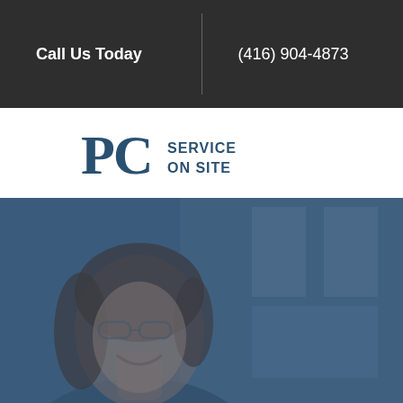Call Us Today
(416) 904-4873
[Figure (logo): PC Service On Site logo with large PC letters and SERVICE ON SITE text]
[Figure (photo): Blue-tinted photo of a smiling woman with glasses in an office setting]